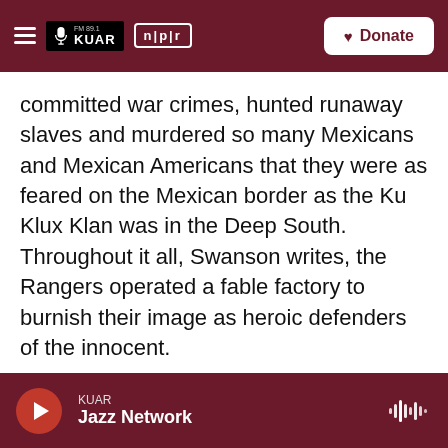FM 89.1 KUAR | NPR | Donate
committed war crimes, hunted runaway slaves and murdered so many Mexicans and Mexican Americans that they were as feared on the Mexican border as the Ku Klux Klan was in the Deep South. Throughout it all, Swanson writes, the Rangers operated a fable factory to burnish their image as heroic defenders of the innocent.
Doug Swanson is a veteran reporter and editor who spent much of his career at The Dallas Morning News. He's written five novels and a previous book of nonfiction. He's now a research assistant professor of English at the University of Pittsburgh.
KUAR — Jazz Network